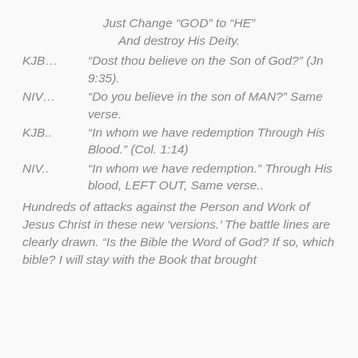Just Change “GOD” to “HE”
And destroy His Deity.
KJB…  “Dost thou believe on the Son of God?” (Jn 9:35).
NIV…  “Do you believe in the son of MAN?” Same verse.
KJB..  “In whom we have redemption Through His Blood.” (Col. 1:14)
NIV..  “In whom we have redemption.” Through His blood, LEFT OUT, Same verse..
Hundreds of attacks against the Person and Work of Jesus Christ in these new ‘versions.’ The battle lines are clearly drawn. “Is the Bible the Word of God? If so, which bible? I will stay with the Book that brought